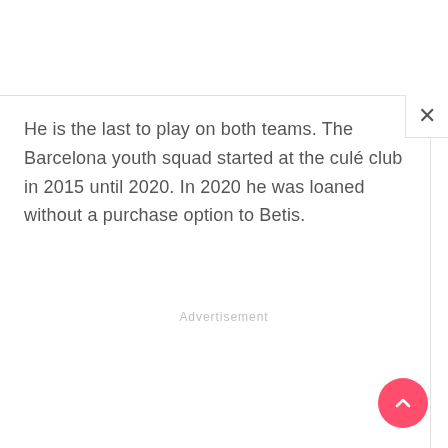He is the last to play on both teams. The Barcelona youth squad started at the culé club in 2015 until 2020. In 2020 he was loaned without a purchase option to Betis.
Advertisement